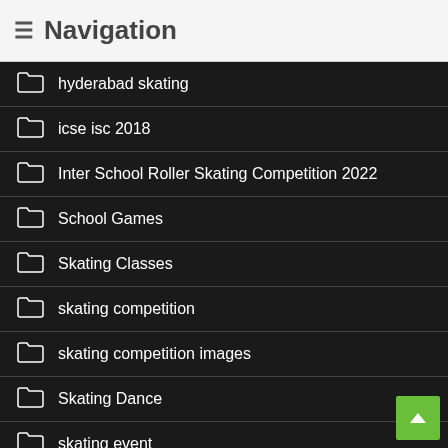≡ Navigation
hyderabad skating
icse isc 2018
Inter School Roller Skating Competition 2022
School Games
Skating Classes
skating competition
skating competition images
Skating Dance
skating event
skating training in Hyderabad